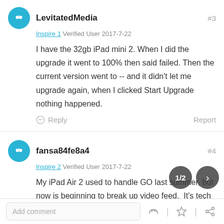LevitatedMedia #3
Inspire 1 Verified User 2017-7-22
I have the 32gb iPad mini 2. When I did the upgrade it went to 100% then said failed. Then the current version went to -- and it didn't let me upgrade again, when I clicked Start Upgrade nothing happened.
Reply  Report
fansa84fe8a4 #4
Inspire 2 Verified User 2017-7-22
My iPad Air 2 used to handle GO last summer, but now is beginning to break up video feed.  It's tech is just too old to keep up with GO 4's evolution